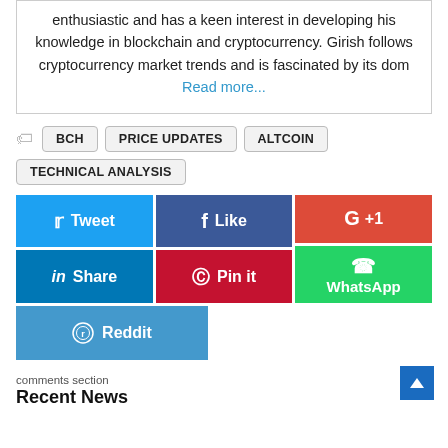enthusiastic and has a keen interest in developing his knowledge in blockchain and cryptocurrency. Girish follows cryptocurrency market trends and is fascinated by its dom Read more...
BCH
PRICE UPDATES
ALTCOIN
TECHNICAL ANALYSIS
[Figure (infographic): Social share buttons: Tweet (Twitter, blue), Share (LinkedIn, dark blue), Like (Facebook, dark blue), Pin it (Pinterest, red), +1 (Google Plus, red-orange), WhatsApp (green), Reddit (blue)]
comments section
Recent News